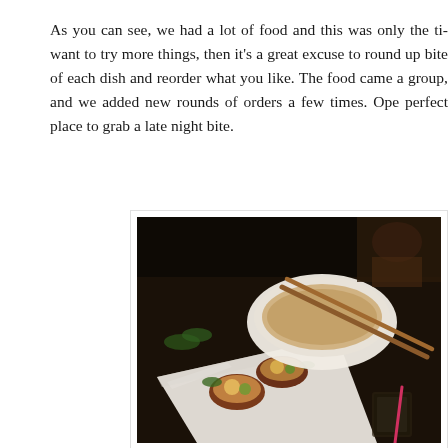As you can see, we had a lot of food and this was only the ti... want to try more things, then it's a great excuse to round up ... bite of each dish and reorder what you like. The food came a... group, and we added new rounds of orders a few times. Ope... perfect place to grab a late night bite.
[Figure (photo): Close-up photograph of Japanese food on a dark restaurant table: sushi rolls or meat skewers on a white rectangular plate in the foreground, a white oval bowl with chopsticks resting on it in the background, and a glass drink visible at the lower right.]